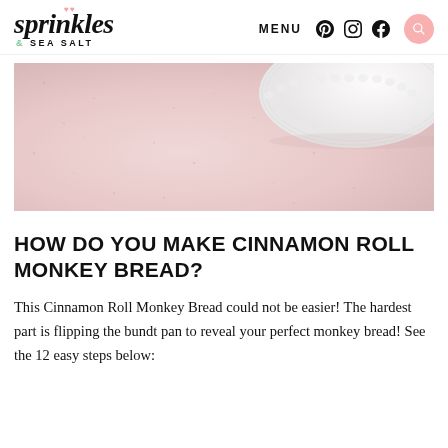sprinkles & SEA SALT — MENU
[Figure (photo): Close-up photo of a pink/blush surface with a white decorative plate or bowl partially visible in the upper right corner, soft focus background.]
HOW DO YOU MAKE CINNAMON ROLL MONKEY BREAD?
This Cinnamon Roll Monkey Bread could not be easier! The hardest part is flipping the bundt pan to reveal your perfect monkey bread! See the 12 easy steps below: